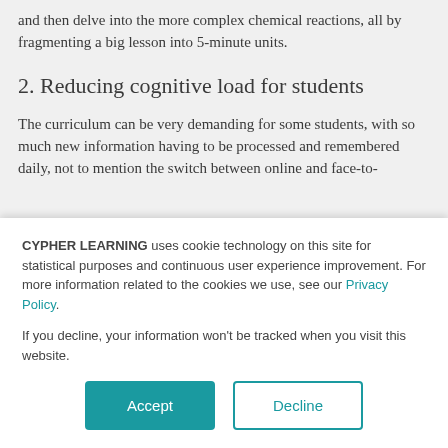and then delve into the more complex chemical reactions, all by fragmenting a big lesson into 5-minute units.
2. Reducing cognitive load for students
The curriculum can be very demanding for some students, with so much new information having to be processed and remembered daily, not to mention the switch between online and face-to-
CYPHER LEARNING uses cookie technology on this site for statistical purposes and continuous user experience improvement. For more information related to the cookies we use, see our Privacy Policy.
If you decline, your information won't be tracked when you visit this website.